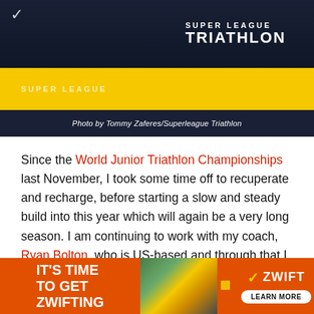[Figure (photo): Super League Triathlon branded equipment/bikes with yellow and dark color scheme]
Photo by Tommy Zaferes/Superleague Triathlon
Since the World Junior Triathlon Championships last November, I took some time off to recuperate and recharge, before starting a slow and steady build into this year which will again be a very long season. I am continuing to work with my coach, Ryan Bolton, who is US-based and through that I began my year with a long camp in America, training at altitude in Santa Fe, New Mexico before heading to Tucson, Arizona for some warmer weather and oxygen!
[Figure (photo): Partial view of outdoor scene at bottom of page]
[Figure (other): Zwift advertisement banner: IT'S TIME TO GET ZWIFTING with scenic image and Zwift logo with LEARN MORE button]